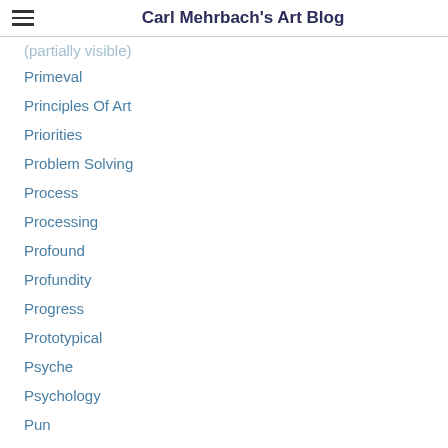Carl Mehrbach's Art Blog
Primeval
Principles Of Art
Priorities
Problem Solving
Process
Processing
Profound
Profundity
Progress
Prototypical
Psyche
Psychology
Pun
Purity
Purpose
Pursuit
Quality
Quandary